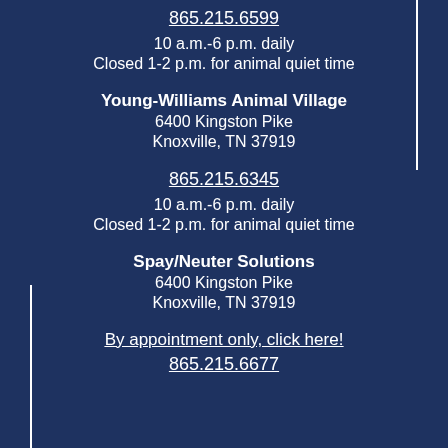865.215.6599
10 a.m.-6 p.m. daily
Closed 1-2 p.m. for animal quiet time
Young-Williams Animal Village
6400 Kingston Pike
Knoxville, TN 37919
865.215.6345
10 a.m.-6 p.m. daily
Closed 1-2 p.m. for animal quiet time
Spay/Neuter Solutions
6400 Kingston Pike
Knoxville, TN 37919
By appointment only, click here!
865.215.6677